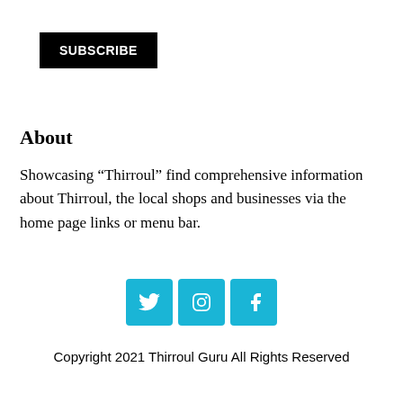[Figure (other): Black subscribe button with white bold text reading SUBSCRIBE]
About
Showcasing “Thirroul” find comprehensive information about Thirroul, the local shops and businesses via the home page links or menu bar.
[Figure (other): Three social media icon buttons in cyan/blue: Twitter bird icon, Instagram camera icon, Facebook f icon]
Copyright 2021 Thirroul Guru All Rights Reserved